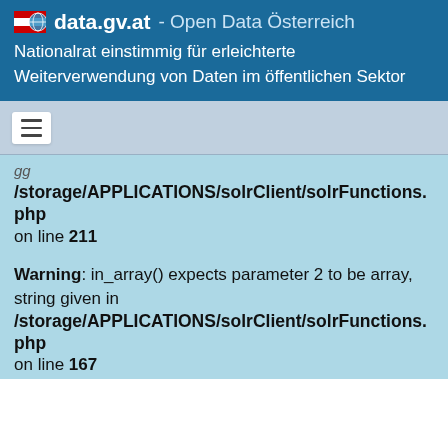data.gv.at - Open Data Österreich
Nationalrat einstimmig für erleichterte Weiterverwendung von Daten im öffentlichen Sektor
/storage/APPLICATIONS/solrClient/solrFunctions.php on line 211
Warning: in_array() expects parameter 2 to be array, string given in /storage/APPLICATIONS/solrClient/solrFunctions.php on line 167
Warning: array_diff(): Expected parameter 1 to be an array, string given in /storage/APPLICATIONS/solrClient/solrFunctions.php on line 176
✓ 1010 (0)